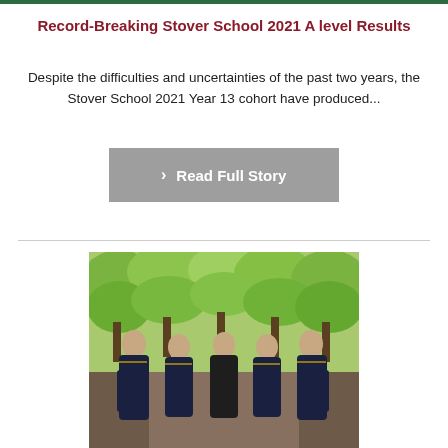Record-Breaking Stover School 2021 A level Results
Despite the difficulties and uncertainties of the past two years, the Stover School 2021 Year 13 cohort have produced...
[Figure (other): Grey button with chevron arrow and text 'Read Full Story']
[Figure (photo): Group of five students in graduation gowns standing outdoors on a tree-lined path]